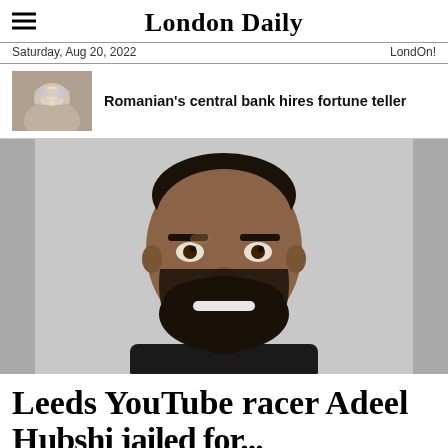London Daily
Saturday, Aug 20, 2022   LondOn!
Romanian's central bank hires fortune teller
[Figure (photo): Photo of a smiling man with a beard and short hair, wearing a black top, against a light grey background. The image appears to be a police mugshot or official photo, shown with blurred duplicate images at the left and right edges.]
Leeds YouTube racer Adeel Hubshi jailed for...